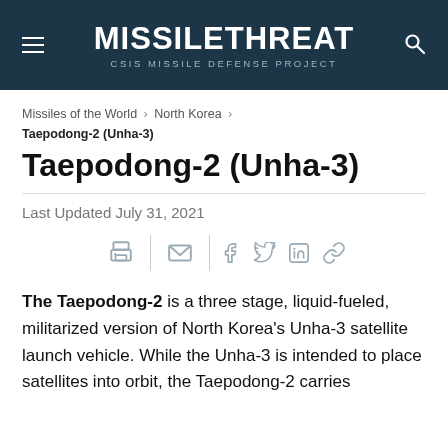MISSILETHREAT CSIS MISSILE DEFENSE PROJECT
Missiles of the World > North Korea > Taepodong-2 (Unha-3)
Taepodong-2 (Unha-3)
Last Updated July 31, 2021
[Figure (infographic): Social sharing icons: print, email, Facebook, Twitter, LinkedIn, link]
The Taepodong-2 is a three stage, liquid-fueled, militarized version of North Korea's Unha-3 satellite launch vehicle. While the Unha-3 is intended to place satellites into orbit, the Taepodong-2 carries